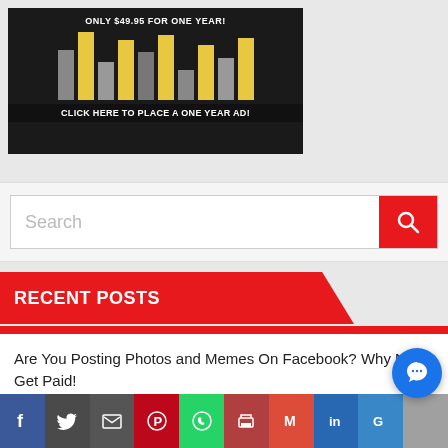[Figure (screenshot): Advertisement banner with dark background showing bar chart graphic and text 'ONLY $49.95 FOR ONE YEAR!' and 'CLICK HERE TO PLACE A ONE YEAR AD!']
[Figure (screenshot): Search bar with placeholder text 'Search' and red search button with magnifying glass icon]
RECENT POSTS
Are You Posting Photos and Memes On Facebook? Why Not Get Paid!
iHub Global Is The New Gold Rush!
[Figure (screenshot): Social sharing bar with icons for Facebook, Twitter, Email, Pinterest, WhatsApp, Print, Gmail, LinkedIn, Google+, and More. Blue chat bubble overlay on right side.]